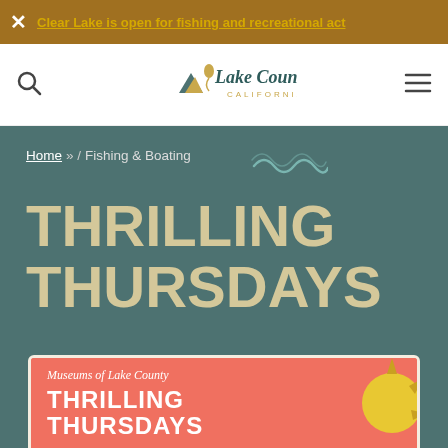Clear Lake is open for fishing and recreational act...
[Figure (logo): Lake County California logo with mountain and lake icon]
Home » / Fishing & Boating
THRILLING THURSDAYS
[Figure (illustration): Museums of Lake County Thrilling Thursdays event graphic with salmon/coral background and yellow sun decoration. Text reads: Museums of Lake County / THRILLING THURSDAYS]